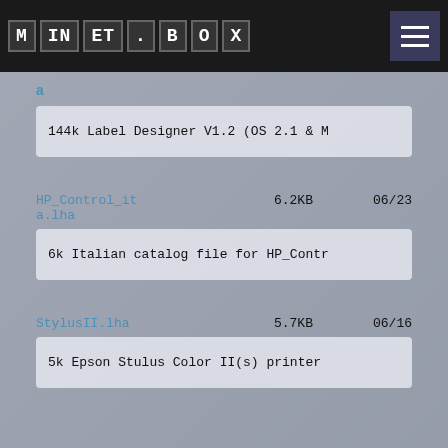AMINET | hamburger menu
a
144k Label Designer V1.2 (OS 2.1 & M
HP_Control_ita.lha   6.2KB   06/23
6k Italian catalog file for HP_Contr
StylusII.lha   5.7KB   06/16
5k Epson Stulus Color II(s) printer